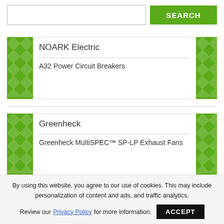[Figure (screenshot): Search input box and green SEARCH button]
NOARK Electric
A32 Power Circuit Breakers
Greenheck
Greenheck MultiSPEC™ SP-LP Exhaust Fans
By using this website, you agree to our use of cookies. This may include personalization of content and ads, and traffic analytics. Review our Privacy Policy for more information.